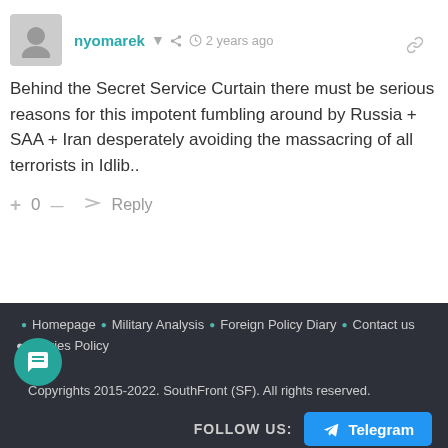nyomarek  2 years ago
Behind the Secret Service Curtain there must be serious reasons for this impotent fumbling around by Russia + SAA + Iran desperately avoiding the massacring of all terrorists in Idlib..
+ 0 — Reply
Homepage · Military Analysis · Foreign Policy Diary · Contact us · Cookies Policy · 14 · Copyrights 2015-2022. SouthFront (SF). All rights reserved. FOLLOW US: Telegram